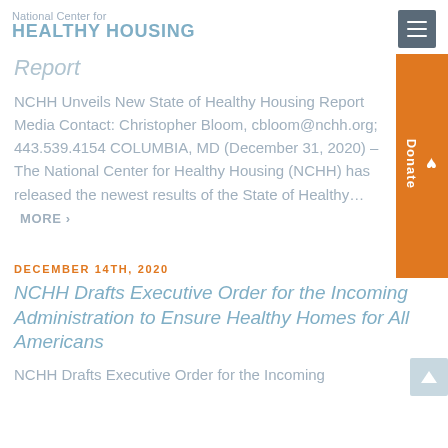National Center for HEALTHY HOUSING
Report
NCHH Unveils New State of Healthy Housing Report Media Contact: Christopher Bloom, cbloom@nchh.org; 443.539.4154 COLUMBIA, MD (December 31, 2020) – The National Center for Healthy Housing (NCHH) has released the newest results of the State of Healthy... MORE ›
DECEMBER 14TH, 2020
NCHH Drafts Executive Order for the Incoming Administration to Ensure Healthy Homes for All Americans
NCHH Drafts Executive Order for the Incoming Administration to Ensure Healthy Homes for All Americans